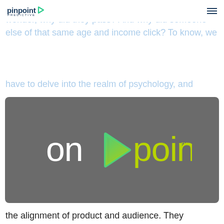if the individual domain engages. You have to wonder, why did they pass? And why did someone else of that same age and income click? To know, we have to delve into the realm of psychology, and
pinpoint predictive | menu
[Figure (logo): OnPoint logo on dark grey rounded rectangle background. White text 'on' followed by green play-button arrow icon, then yellow-green text 'point' with trademark symbol.]
the alignment of product and audience. They establish a probability of engagement, and once the content is shown to a person, they just wait. It is at that precise moment where the human brain makes the final decision to engage or not—and this decision is based not only on the product being